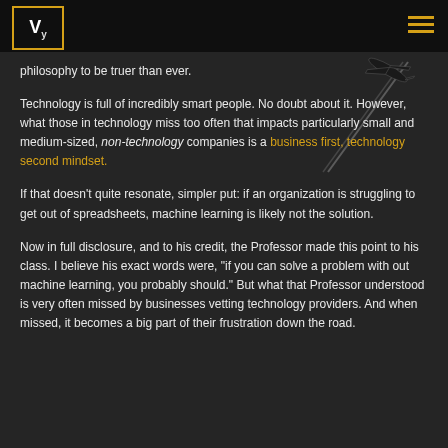Vy [logo]
philosophy to be truer than ever.
Technology is full of incredibly smart people. No doubt about it. However, what those in technology miss too often that impacts particularly small and medium-sized, non-technology companies is a business first, technology second mindset.
If that doesn't quite resonate, simpler put: if an organization is struggling to get out of spreadsheets, machine learning is likely not the solution.
Now in full disclosure, and to his credit, the Professor made this point to his class. I believe his exact words were, "if you can solve a problem with out machine learning, you probably should." But what that Professor understood is very often missed by businesses vetting technology providers. And when missed, it becomes a big part of their frustration down the road.
[Figure (photo): Airplane contrail in dark sky, viewed from below at an angle, with white streaks trailing behind.]